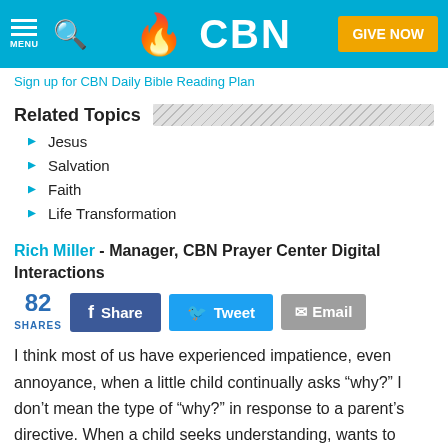CBN — MENU | Search | GIVE NOW
Sign up for CBN Daily Bible Reading Plan
Related Topics
Jesus
Salvation
Faith
Life Transformation
Rich Miller - Manager, CBN Prayer Center Digital Interactions
82 SHARES | Share | Tweet | Email
I think most of us have experienced impatience, even annoyance, when a little child continually asks “why?” I don’t mean the type of “why?” in response to a parent’s directive. When a child seeks understanding, wants to